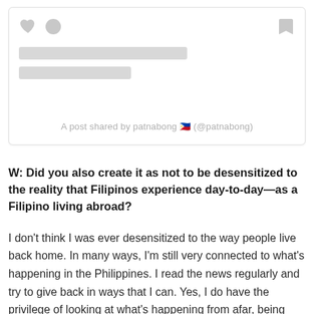[Figure (screenshot): Social media post card with heart and circle icons on the left, bookmark icon on top right, two gray skeleton loading bars, and centered caption text: 'A post shared by patnabong 🇵🇭 (@patnabong)']
A post shared by patnabong 🇵🇭 (@patnabong)
W: Did you also create it as not to be desensitized to the reality that Filipinos experience day-to-day—as a Filipino living abroad?
I don't think I was ever desensitized to the way people live back home. In many ways, I'm still very connected to what's happening in the Philippines. I read the news regularly and try to give back in ways that I can. Yes, I do have the privilege of looking at what's happening from afar, being physically detached from it, but I feel for my country